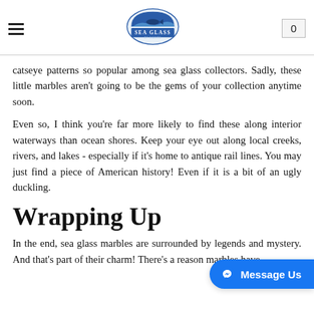Sea Glass by Siagon — navigation header with logo and cart
catseye patterns so popular among sea glass collectors. Sadly, these little marbles aren't going to be the gems of your collection anytime soon.
Even so, I think you're far more likely to find these along interior waterways than ocean shores. Keep your eye out along local creeks, rivers, and lakes - especially if it's home to antique rail lines. You may just find a piece of American history! Even if it is a bit of an ugly duckling.
Wrapping Up
In the end, sea glass marbles are surrounded by legends and mystery. And that's part of their charm! There's a reason marbles have